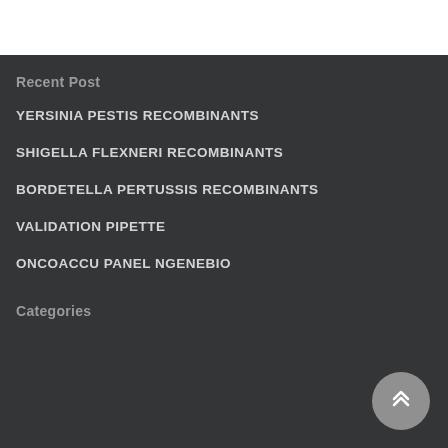Recent Post
YERSINIA PESTIS RECOMBINANTS
SHIGELLA FLEXNERI RECOMBINANTS
BORDETELLA PERTUSSIS RECOMBINANTS
VALIDATION PIPETTE
ONCOACCU PANEL NGENEBIO
Categories